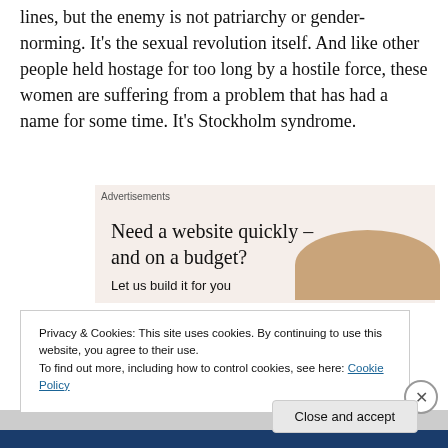lines, but the enemy is not patriarchy or gender-norming. It's the sexual revolution itself. And like other people held hostage for too long by a hostile force, these women are suffering from a problem that has had a name for some time. It's Stockholm syndrome.
[Figure (other): Advertisement block with beige background showing 'Need a website quickly – and on a budget? Let us build it for you' with a partial circular image of a person]
Privacy & Cookies: This site uses cookies. By continuing to use this website, you agree to their use.
To find out more, including how to control cookies, see here: Cookie Policy
Close and accept